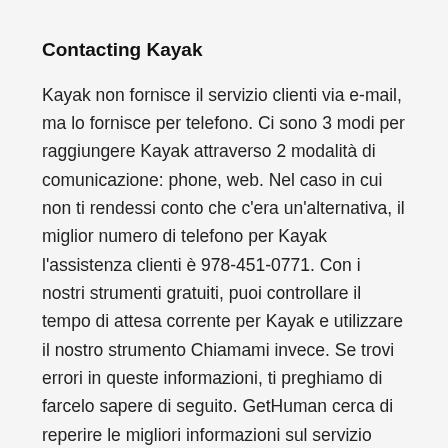Contacting Kayak
Kayak non fornisce il servizio clienti via e-mail, ma lo fornisce per telefono. Ci sono 3 modi per raggiungere Kayak attraverso 2 modalità di comunicazione: phone, web. Nel caso in cui non ti rendessi conto che c'era un'alternativa, il miglior numero di telefono per Kayak l'assistenza clienti è 978-451-0771. Con i nostri strumenti gratuiti, puoi controllare il tempo di attesa corrente per Kayak e utilizzare il nostro strumento Chiamami invece. Se trovi errori in queste informazioni, ti preghiamo di farcelo sapere di seguito. GetHuman cerca di reperire le migliori informazioni sul servizio clienti dai clienti in modo che possiamo condividere i nostri migliori suggerimenti e